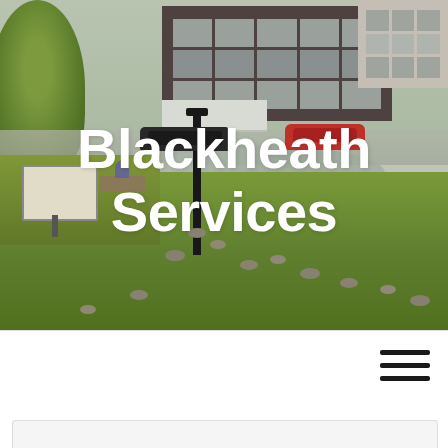[Figure (photo): Outdoor photo of Blackheath park area showing a pond, geese on grass, a street lamp, an information signboard, trees, and a brick/concrete residential building in the background with cars parked. Bold white text overlay reads 'Blackheath Services'.]
Blackheath Services
[Figure (other): Hamburger menu icon (three horizontal lines) in the top-right of the white navigation area below the photo.]